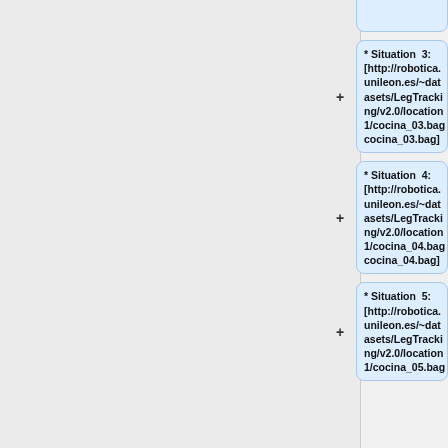* Situation 3: [http://robotica.unileon.es/~datasets/LegTracking/v2.0/location1/cocina_03.bag cocina_03.bag]
* Situation 4: [http://robotica.unileon.es/~datasets/LegTracking/v2.0/location1/cocina_04.bag cocina_04.bag]
* Situation 5: [http://robotica.unileon.es/~datasets/LegTracking/v2.0/location1/cocina_05.bag